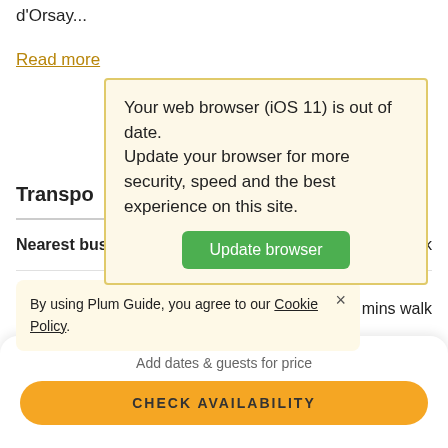d'Orsay...
Read more
[Figure (screenshot): Browser compatibility warning popup with yellow background stating: 'Your web browser (iOS 11) is out of date. Update your browser for more security, speed and the best experience on this site.' with a green 'Update browser' button.]
Transpo
Nearest bus stop    1 min walk
[Figure (screenshot): Cookie consent notice on light yellow background: 'By using Plum Guide, you agree to our Cookie Policy.' with an X close button. Overlaps with '4 mins walk' distance info.]
Bir-Hakeim    8 mins walk
Add dates & guests for price
CHECK AVAILABILITY